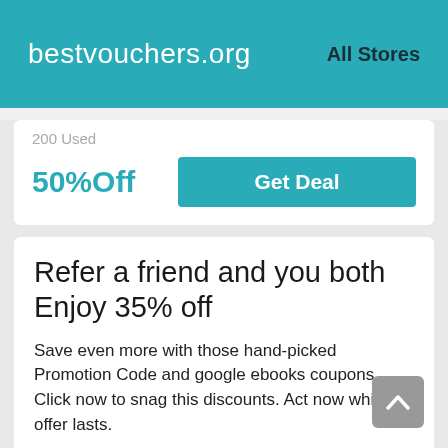bestvouchers.org   All Stores
200 Used
50%Off
Get Deal
Refer a friend and you both Enjoy 35% off
Save even more with those hand-picked Promotion Code and google ebooks coupons. Click now to snag this discounts. Act now while offer lasts.
48 Used